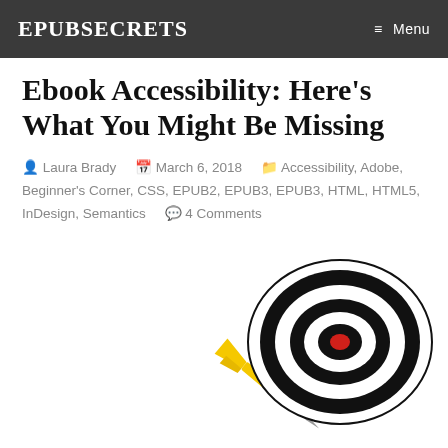EPUBSECRETS    ≡ Menu
Ebook Accessibility: Here's What You Might Be Missing
Laura Brady    March 6, 2018    Accessibility, Adobe, Beginner's Corner, CSS, EPUB2, EPUB3, EPUB3, HTML, HTML5, InDesign, Semantics    4 Comments
[Figure (illustration): A yellow dart flying diagonally with a metallic point, and a black-and-white bullseye target with a red center dot, on a white background.]